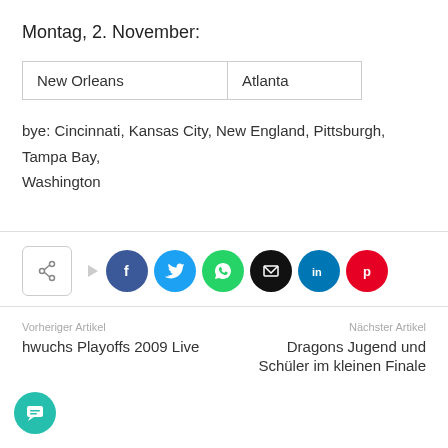Montag, 2. November:
| New Orleans | Atlanta |
bye: Cincinnati, Kansas City, New England, Pittsburgh, Tampa Bay, Washington
[Figure (infographic): Social share buttons: share icon box, Facebook (dark blue circle), Twitter (light blue circle), WhatsApp (green circle), Email (black circle), LinkedIn (dark blue circle), Pinterest (red circle)]
Vorheriger Artikel: hwuchs Playoffs 2009 Live | Nächster Artikel: Dragons Jugend und Schüler im kleinen Finale